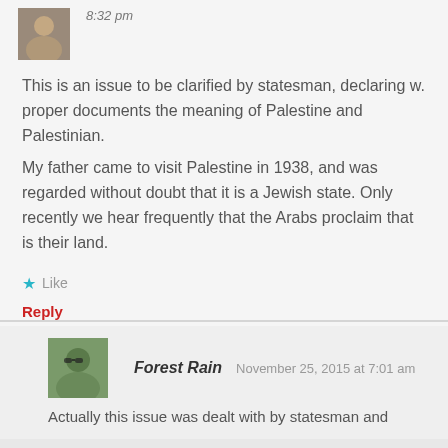8:32 pm
This is an issue to be clarified by statesman, declaring w. proper documents the meaning of Palestine and Palestinian.
My father came to visit Palestine in 1938, and was regarded without doubt that it is a Jewish state. Only recently we hear frequently that the Arabs proclaim that is their land.
Like
Reply
Forest Rain   November 25, 2015 at 7:01 am
Actually this issue was dealt with by statesman and